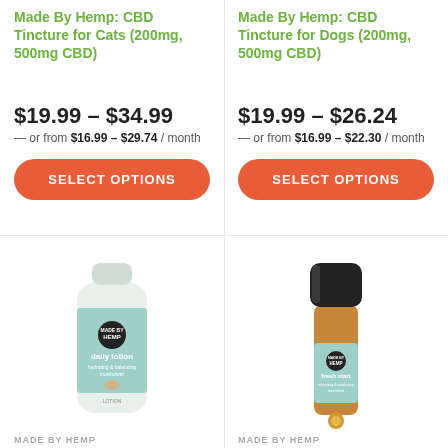Made By Hemp: CBD Tincture for Cats (200mg, 500mg CBD)
$19.99 – $34.99 — or from $16.99 – $29.74 / month
SELECT OPTIONS
Made By Hemp: CBD Tincture for Dogs (200mg, 500mg CBD)
$19.99 – $26.24 — or from $16.99 – $22.30 / month
SELECT OPTIONS
[Figure (photo): Made By Hemp daily lotion product in white tube with mint green label]
MADE BY HEMP
[Figure (photo): Made By Hemp fresh start roll-on product in amber glass bottle with black cap and mint green label]
MADE BY HEMP